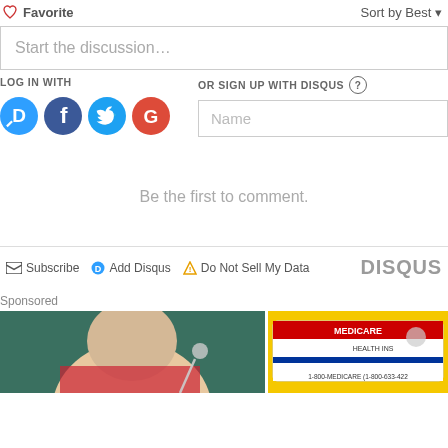Favorite
Sort by Best
Start the discussion…
LOG IN WITH
OR SIGN UP WITH DISQUS ?
Name
Be the first to comment.
Subscribe  Add Disqus  Do Not Sell My Data
DISQUS
Sponsored
[Figure (photo): Sponsored ad image left: woman with blonde hair and earrings]
[Figure (photo): Sponsored ad image right: Medicare health insurance card on yellow background]